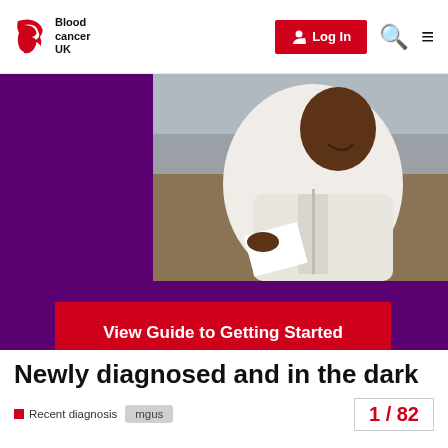Blood Cancer UK — Log In
[Figure (photo): A Black man in a white hoodie looking at paper documents outdoors, with a purple background overlay and a red 'View Guide to Getting Started' button]
Newly diagnosed and in the dark
Recent diagnosis  mgus  1 / 82